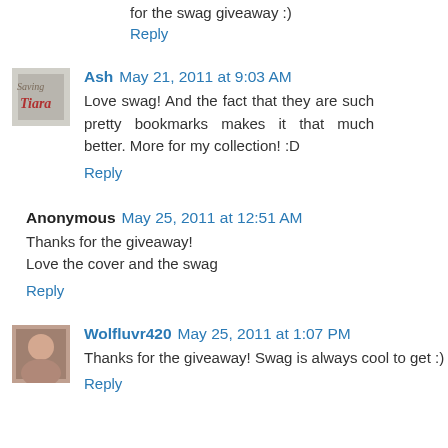for the swag giveaway :)
Reply
Ash May 21, 2011 at 9:03 AM
Love swag! And the fact that they are such pretty bookmarks makes it that much better. More for my collection! :D
Reply
Anonymous May 25, 2011 at 12:51 AM
Thanks for the giveaway!
Love the cover and the swag
Reply
Wolfluvr420 May 25, 2011 at 1:07 PM
Thanks for the giveaway! Swag is always cool to get :)
Reply